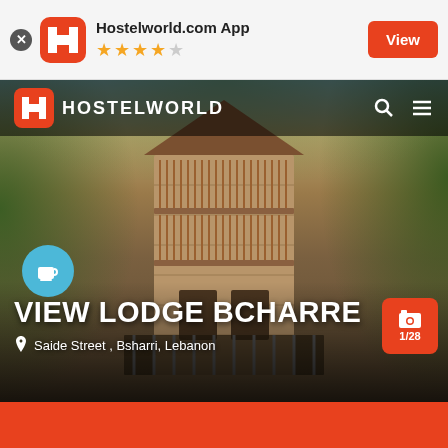Hostelworld.com App ★★★★☆
[Figure (screenshot): Photo of View Lodge Bcharre hostel building — a multi-storey stone building with wooden balcony slats and railings, surrounded by green trees. Hostelworld navigation bar overlaid at top showing logo and search/menu icons. Coffee cup amenity icon visible on left side of photo.]
VIEW LODGE BCHARRE
Saide Street , Bsharri, Lebanon
1/28